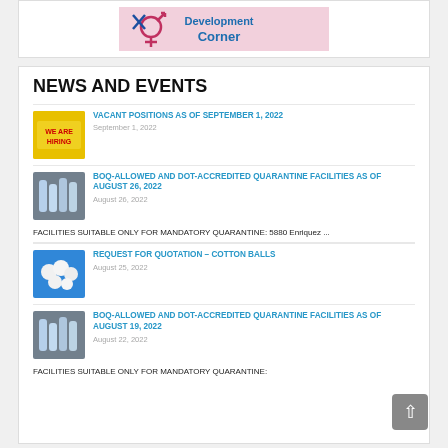[Figure (illustration): Development Corner banner with gender symbol icons on pink/purple gradient background]
NEWS AND EVENTS
[Figure (photo): Yellow 'WE ARE HIRING' sign thumbnail]
VACANT POSITIONS AS OF SEPTEMBER 1, 2022
September 1, 2022
[Figure (photo): Test tubes/vials thumbnail]
BOQ-ALLOWED AND DOT-ACCREDITED QUARANTINE FACILITIES AS OF AUGUST 26, 2022
August 26, 2022
FACILITIES SUITABLE ONLY FOR MANDATORY QUARANTINE: 5880 Enriquez ...
[Figure (photo): Cotton balls on blue background thumbnail]
REQUEST FOR QUOTATION – COTTON BALLS
August 25, 2022
[Figure (photo): Test tubes/vials thumbnail]
BOQ-ALLOWED AND DOT-ACCREDITED QUARANTINE FACILITIES AS OF AUGUST 19, 2022
August 22, 2022
FACILITIES SUITABLE ONLY FOR MANDATORY QUARANTINE: